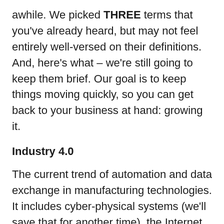awhile. We picked THREE terms that you've already heard, but may not feel entirely well-versed on their definitions. And, here's what – we're still going to keep them brief. Our goal is to keep things moving quickly, so you can get back to your business at hand: growing it.
Industry 4.0
The current trend of automation and data exchange in manufacturing technologies. It includes cyber-physical systems (we'll save that for another time), the Internet of Things (IoT … we'll hit that next), cloud computing and cognitive computing.
Source: Industry 4.0 – Wikipedia
https://en.wikipedia.org/wiki/Industry_4.0
Internet of Things